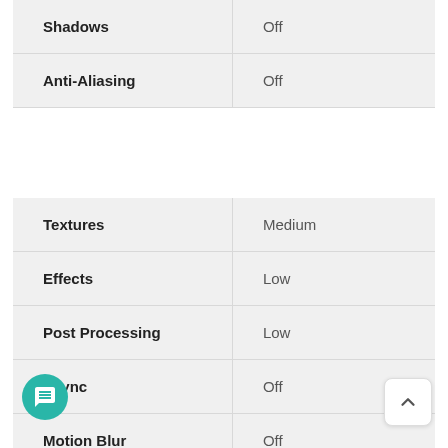| Setting | Value |
| --- | --- |
| Shadows | Off |
| Anti-Aliasing | Off |
| Setting | Value |
| --- | --- |
| Textures | Medium |
| Effects | Low |
| Post Processing | Low |
| Vsync | Off |
| Motion Blur | Off |
| Show FPS | On |